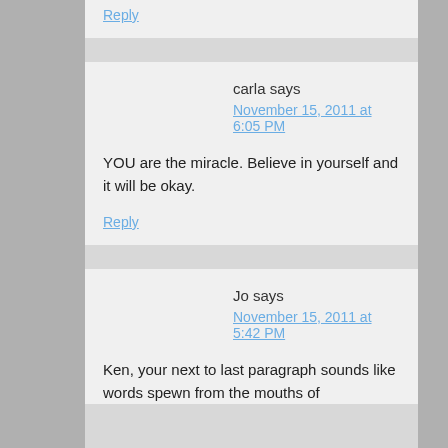Reply
carla says
November 15, 2011 at 6:05 PM
YOU are the miracle. Believe in yourself and it will be okay.
Reply
Jo says
November 15, 2011 at 5:42 PM
Ken, your next to last paragraph sounds like words spewn from the mouths of